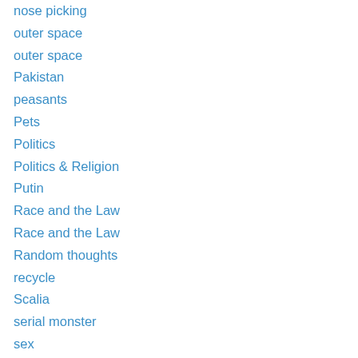nose picking
outer space
outer space
Pakistan
peasants
Pets
Politics
Politics & Religion
Putin
Race and the Law
Race and the Law
Random thoughts
recycle
Scalia
serial monster
sex
sexist
sexy
sins
snot